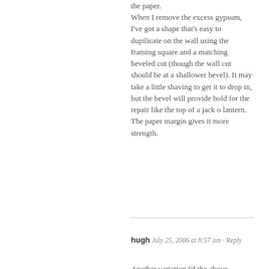the paper. When I remove the excess gypsum, I've got a shape that's easy to dupilicate on the wall using the framing square and a matching beveled cut (though the wall cut should be at a shallower bevel). It may take a little shaving to get it to drop in, but the bevel will provide hold for the repair like the top of a jack o lantern. The paper margin gives it more strength.
hugh July 25, 2006 at 8:57 am · Reply
Another variation (if the above